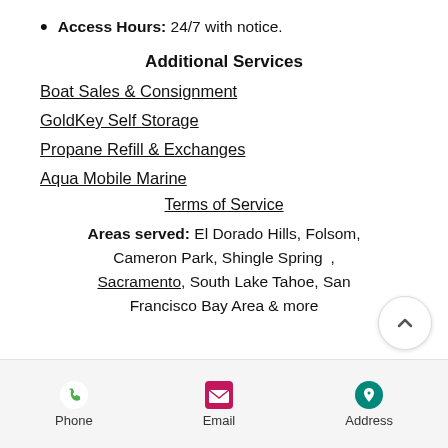Access Hours: 24/7 with notice.
Additional Services
Boat Sales & Consignment
GoldKey Self Storage
Propane Refill & Exchanges
Aqua Mobile Marine
Terms of Service
Areas served: El Dorado Hills, Folsom, Cameron Park, Shingle Springs, Sacramento, South Lake Tahoe, San Francisco Bay Area & more
Phone  Email  Address